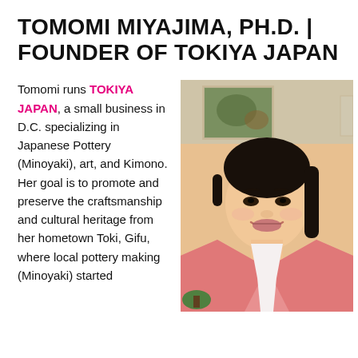TOMOMI MIYAJIMA, PH.D. | FOUNDER OF TOKIYA JAPAN
Tomomi runs TOKIYA JAPAN, a small business in D.C. specializing in Japanese Pottery (Minoyaki), art, and Kimono. Her goal is to promote and preserve the craftsmanship and cultural heritage from her hometown Toki, Gifu, where local pottery making (Minoyaki) started
[Figure (photo): Portrait photo of Tomomi Miyajima smiling, wearing a pink kimono with white collar, dark hair pulled back, indoor setting with artwork visible in background]